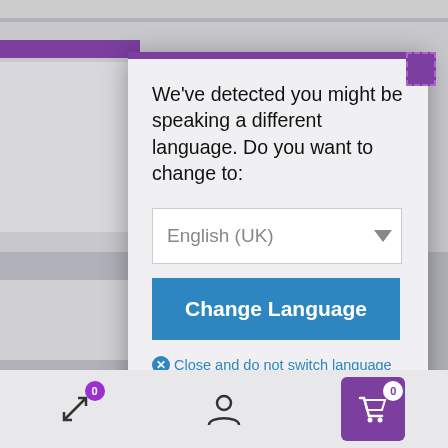[Figure (screenshot): A modal dialog overlay on a website. The modal has a purple top border and contains a language detection prompt with a dropdown showing 'English (UK)', a blue 'Change Language' button, and a 'Close and do not switch language' link. Below the modal is a mobile toolbar with navigation icons.]
We've detected you might be speaking a different language. Do you want to change to:
English (UK)
Change Language
Close and do not switch language